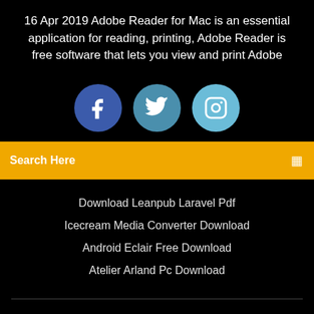16 Apr 2019 Adobe Reader for Mac is an essential application for reading, printing, Adobe Reader is free software that lets you view and print Adobe
[Figure (infographic): Three social media icons: Facebook (dark blue circle with f), Twitter (medium blue circle with bird), Instagram (light blue circle with camera)]
Search Here
Download Leanpub Laravel Pdf
Icecream Media Converter Download
Android Eclair Free Download
Atelier Arland Pc Download
Copyright ©2022 All rights reserved | This template is made with ♡ by Colorlib